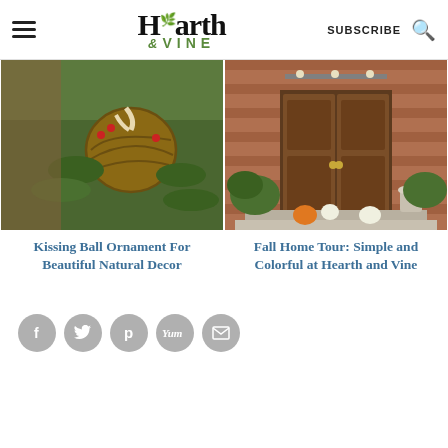Hearth & VINE — SUBSCRIBE
[Figure (photo): Close-up of a kissing ball ornament made of wicker and greenery with ribbon, hanging on a Christmas tree]
[Figure (photo): Fall home front door with brick exterior, wooden double doors, pumpkins and fall plants on steps]
Kissing Ball Ornament For Beautiful Natural Decor
Fall Home Tour: Simple and Colorful at Hearth and Vine
[Figure (infographic): Social sharing icons row: Facebook, Twitter, Pinterest, Yummly, Email — all gray circles]